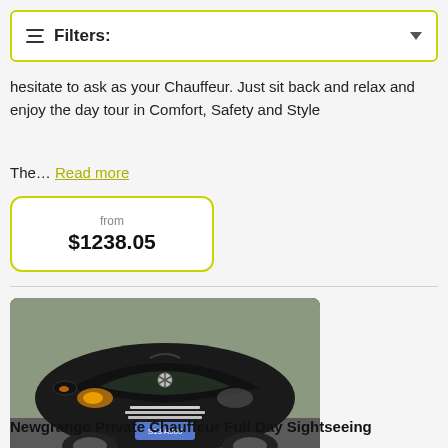Filters:
hesitate to ask as your Chauffeur. Just sit back and relax and enjoy the day tour in Comfort, Safety and Style
The… Read more
from $1238.05
[Figure (photo): Front view of a dark-colored Mercedes-Benz V-Class van with headlights on, parked on a road]
Newgrange Private Chauffeur Full Day Sightseeing